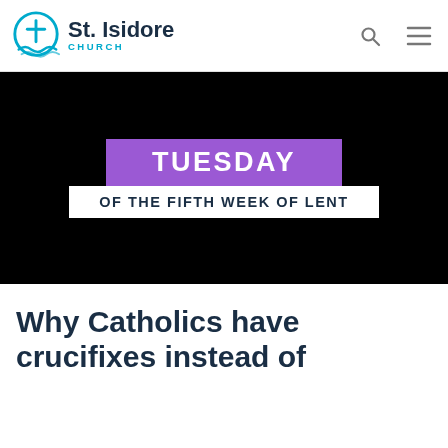St. Isidore CHURCH
[Figure (screenshot): Black video thumbnail with 'TUESDAY' in purple banner and 'OF THE FIFTH WEEK OF LENT' in white banner below]
Why Catholics have crucifixes instead of crosses